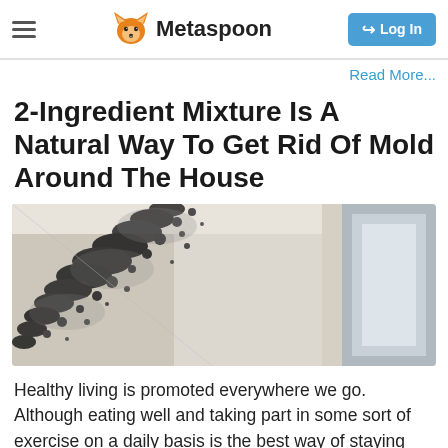Metaspoon
Read More...
2-Ingredient Mixture Is A Natural Way To Get Rid Of Mold Around The House
[Figure (photo): Close-up photo of black mold growing in the corner of a white wall near a window frame]
Healthy living is promoted everywhere we go. Although eating well and taking part in some sort of exercise on a daily basis is the best way of staying healthy, we